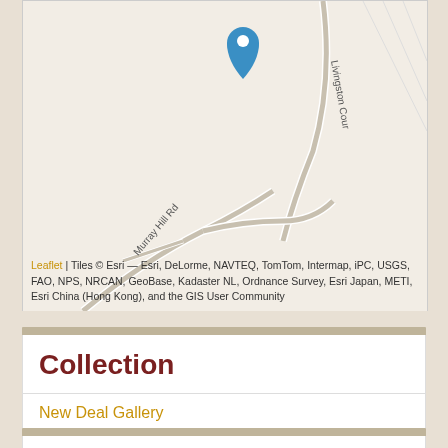[Figure (map): Street map showing Murray Hill Rd and Livingston Cour roads with a blue location pin marker at the top center of the map.]
Leaflet | Tiles © Esri — Esri, DeLorme, NAVTEQ, TomTom, Intermap, iPC, USGS, FAO, NPS, NRCAN, GeoBase, Kadaster NL, Ordnance Survey, Esri Japan, METI, Esri China (Hong Kong), and the GIS User Community
Collection
New Deal Gallery
Tags